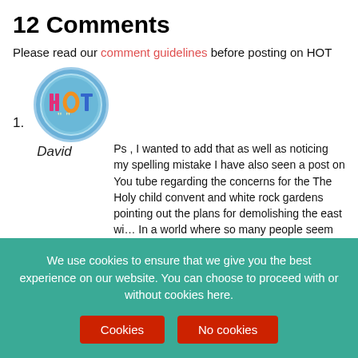12 Comments
Please read our comment guidelines before posting on HOT
1. David — Ps , I wanted to add that as well as noticing my spelling mistake I have also seen a post on You tube regarding the concerns for the The Holy child convent and white rock gardens pointing out the plans for demolishing the east win… In a world where so many people seem to be " like moving…
[Figure (logo): HOT website logo — circular blue badge with HOT lettering and quotation marks]
More HOT Stuff (vertical sidebar label)
We use cookies to ensure that we give you the best experience on our website. You can choose to proceed with or without cookies here.
Cookies | No cookies